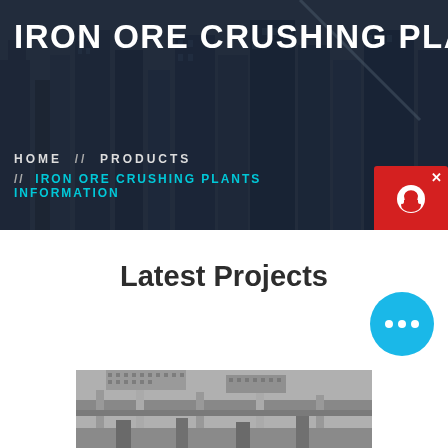[Figure (photo): Dark hero banner with city/construction background, overlaid with navigation text and large title 'IRON ORE CRUSHING PLANTS IN...']
IRON ORE CRUSHING PLANTS IN
HOME // PRODUCTS // IRON ORE CRUSHING PLANTS INFORMATION
[Figure (screenshot): Red chat widget box with headset icon and 'Chat Now' label in dark box, with X close button]
Latest Projects
[Figure (screenshot): Cyan circular chat bubble with three dots (...)]
[Figure (photo): Industrial iron ore crushing plant machinery — conveyor belts and metal structures inside a facility]